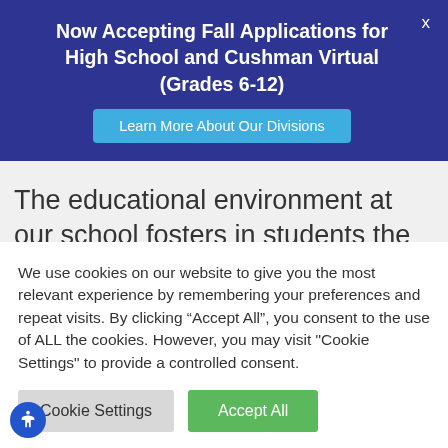Now Accepting Fall Applications for High School and Cushman Virtual (Grades 6-12)
Learn More About Our Divisions
The educational environment at our school fosters in students the qualities of virtue, responsibility, respect for self and others and nurtures the student in intellectual, physical
We use cookies on our website to give you the most relevant experience by remembering your preferences and repeat visits. By clicking “Accept All”, you consent to the use of ALL the cookies. However, you may visit "Cookie Settings" to provide a controlled consent.
Cookie Settings
Accept All